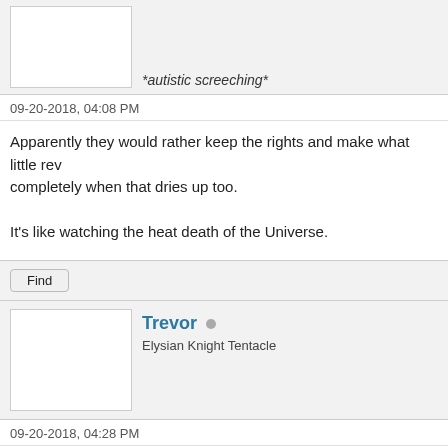*autistic screeching*
09-20-2018, 04:08 PM
Apparently they would rather keep the rights and make what little rev completely when that dries up too.

It's like watching the heat death of the Universe.
Find
Trevor
Elysian Knight Tentacle
09-20-2018, 04:28 PM
Murdoc Wrote:
Apparently they would rather keep the rights and make what little re